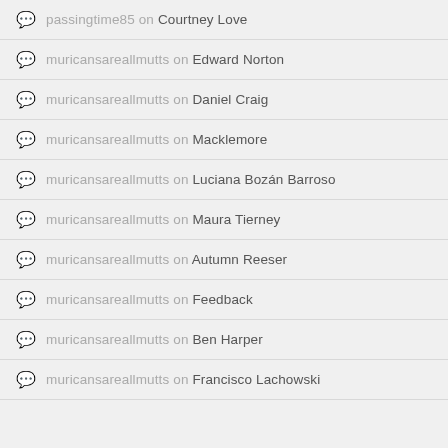passingtime85 on Courtney Love
muricansareallmutts on Edward Norton
muricansareallmutts on Daniel Craig
muricansareallmutts on Macklemore
muricansareallmutts on Luciana Bozán Barroso
muricansareallmutts on Maura Tierney
muricansareallmutts on Autumn Reeser
muricansareallmutts on Feedback
muricansareallmutts on Ben Harper
muricansareallmutts on Francisco Lachowski